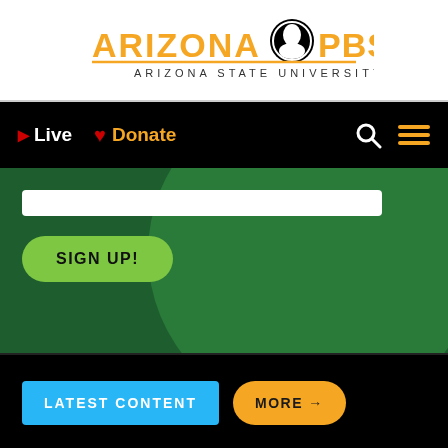[Figure (logo): Arizona PBS logo with PBS circle icon and 'ARIZONA STATE UNIVERSITY' text below]
Live | Donate | Search | Menu
[Figure (screenshot): Green background section with white input bar and green 'SIGN UP!' button with circular decorative element]
LATEST CONTENT | MORE →
[Figure (photo): Dramatic cloud/storm image with blue and purple tones]